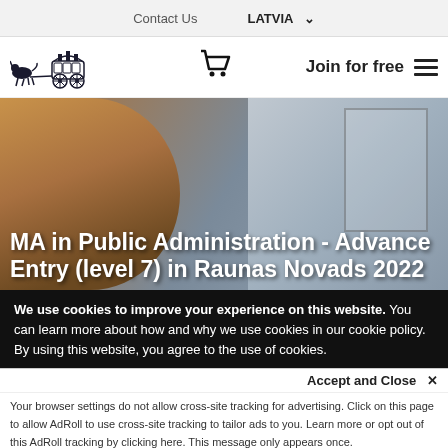Contact Us   LATVIA ∨
[Figure (logo): Horse-drawn carriage logo illustration in dark ink]
Join for free
[Figure (photo): Smiling young woman looking at a laptop near a window, used as hero background image]
MA in Public Administration - Advance Entry (level 7) in Raunas Novads 2022
We use cookies to improve your experience on this website. You can learn more about how and why we use cookies in our cookie policy. By using this website, you agree to the use of cookies.
Accept and Close ✕
Your browser settings do not allow cross-site tracking for advertising. Click on this page to allow AdRoll to use cross-site tracking to tailor ads to you. Learn more or opt out of this AdRoll tracking by clicking here. This message only appears once.